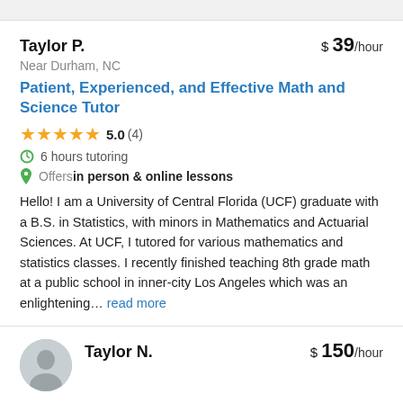Taylor P.
$ 39/hour
Near Durham, NC
Patient, Experienced, and Effective Math and Science Tutor
5.0 (4)
6 hours tutoring
Offers in person & online lessons
Hello! I am a University of Central Florida (UCF) graduate with a B.S. in Statistics, with minors in Mathematics and Actuarial Sciences. At UCF, I tutored for various mathematics and statistics classes. I recently finished teaching 8th grade math at a public school in inner-city Los Angeles which was an enlightening… read more
Taylor N.
$ 150/hour